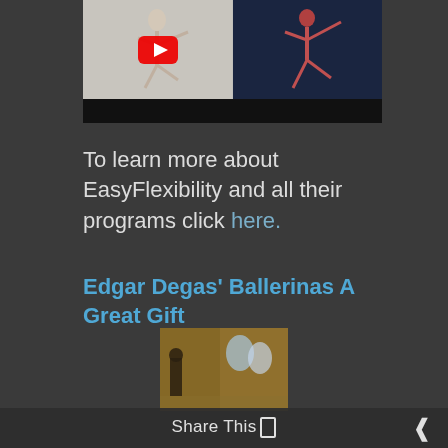[Figure (screenshot): YouTube video thumbnail showing a ballet dancer on the left (gray background) with a red YouTube play button overlay, and an anatomical figure of a dancer on the right (dark blue background) with 'Sartorius' label. Below is a dark video control bar.]
To learn more about EasyFlexibility and all their programs click here.
Edgar Degas’ Ballerinas A Great Gift
[Figure (photo): A painting by Edgar Degas showing ballerinas with warm autumn tones, a figure in dark clothing on the left, and dancers in light blue/white tutus.]
Share This